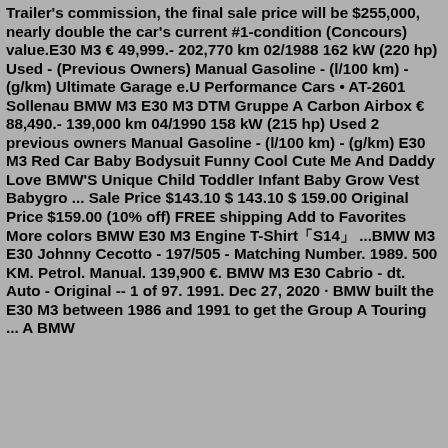Trailer's commission, the final sale price will be $255,000, nearly double the car's current #1-condition (Concours) value.E30 M3 € 49,999.- 202,770 km 02/1988 162 kW (220 hp) Used - (Previous Owners) Manual Gasoline - (l/100 km) - (g/km) Ultimate Garage e.U Performance Cars • AT-2601 Sollenau BMW M3 E30 M3 DTM Gruppe A Carbon Airbox € 88,490.- 139,000 km 04/1990 158 kW (215 hp) Used 2 previous owners Manual Gasoline - (l/100 km) - (g/km) E30 M3 Red Car Baby Bodysuit Funny Cool Cute Me And Daddy Love BMW'S Unique Child Toddler Infant Baby Grow Vest Babygro ... Sale Price $143.10 $ 143.10 $ 159.00 Original Price $159.00 (10% off) FREE shipping Add to Favorites More colors BMW E30 M3 Engine T-Shirt「S14」 ...BMW M3 E30 Johnny Cecotto - 197/505 - Matching Number. 1989. 500 KM. Petrol. Manual. 139,900 €. BMW M3 E30 Cabrio - dt. Auto - Original -- 1 of 97. 1991. Dec 27, 2020 · BMW built the E30 M3 between 1986 and 1991 to get the Group A Touring ... A BMW